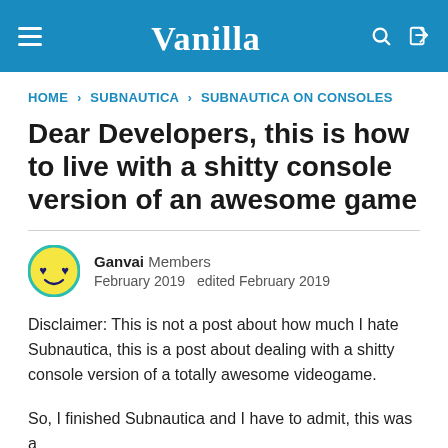Vanilla
HOME › SUBNAUTICA › SUBNAUTICA ON CONSOLES
Dear Developers, this is how to live with a shitty console version of an awesome game
Ganvai  Members
February 2019   edited February 2019
Disclaimer: This is not a post about how much I hate Subnautica, this is a post about dealing with a shitty console version of a totally awesome videogame.
So, I finished Subnautica and I have to admit, this was a